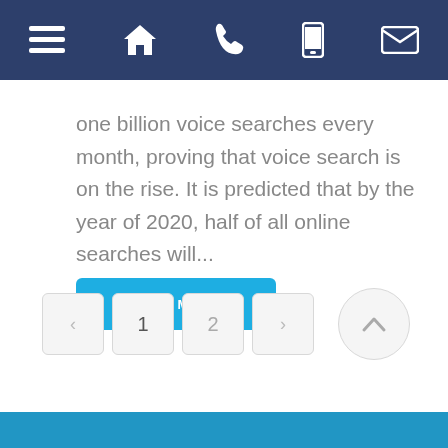[Navigation bar with menu, home, phone, mobile, and email icons]
one billion voice searches every month, proving that voice search is on the rise. It is predicted that by the year of 2020, half of all online searches will...
READ MORE
Pagination: < 1 2 >